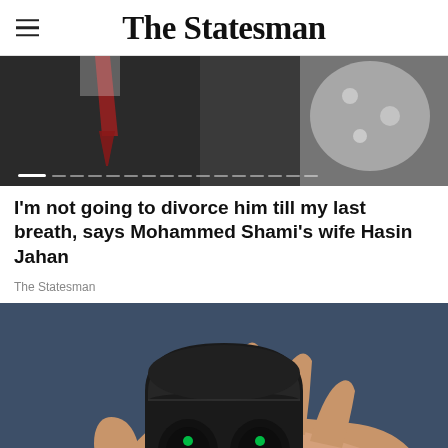The Statesman
[Figure (photo): A man in a dark suit with a red tie next to a woman in an ornate white outfit, cropped wedding or formal event photo with slider dots at the bottom]
I'm not going to divorce him till my last breath, says Mohammed Shami's wife Hasin Jahan
The Statesman
[Figure (photo): A hand holding an open black case containing two wireless earbuds with green LED indicators, against a dark blue background. An orange chat notification bubble with the number 1 is visible in the lower right corner.]